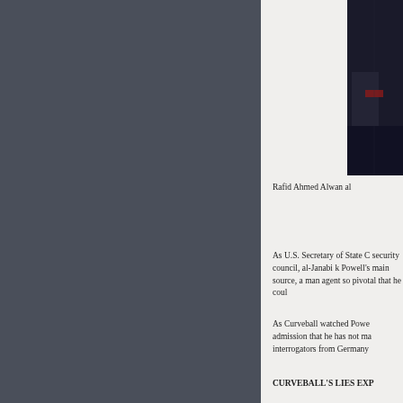[Figure (photo): Dark photograph partially visible on the right side of the page, appears to show a person or figures in low light]
Rafid Ahmed Alwan al
As U.S. Secretary of State C security council, al-Janabi k Powell's main source, a man agent so pivotal that he coul
As Curveball watched Powe admission that he has not ma interrogators from Germany
CURVEBALL'S LIES EXP
The Guardian reports that Ja 2000, when the BND (Germ be Dubai, to speak with his f Dr. Bassil Latif.
Even now, Curveball he thought the game flown to Dubai to int